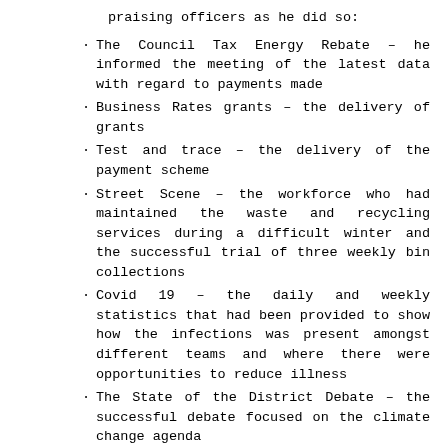praising officers as he did so:
The Council Tax Energy Rebate – he informed the meeting of the latest data with regard to payments made
Business Rates grants – the delivery of grants
Test and trace – the delivery of the payment scheme
Street Scene – the workforce who had maintained the waste and recycling services during a difficult winter and the successful trial of three weekly bin collections
Covid 19 – the daily and weekly statistics that had been provided to show how the infections was present amongst different teams and where there were opportunities to reduce illness
The State of the District Debate – the successful debate focused on the climate change agenda
Housing success – the planned modular housing